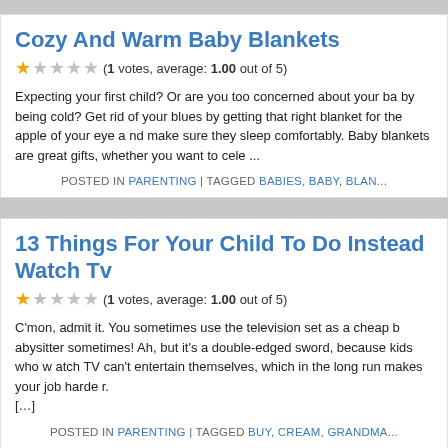Cozy And Warm Baby Blankets
(1 votes, average: 1.00 out of 5)
Expecting your first child? Or are you too concerned about your baby being cold? Get rid of your blues by getting that right blanket for the apple of your eye and make sure they sleep comfortably. Baby blankets are great gifts, whether you want to cele...
POSTED IN PARENTING | TAGGED BABIES, BABY, BLAN...
13 Things For Your Child To Do Instead Of Watch Tv
(1 votes, average: 1.00 out of 5)
C'mon, admit it. You sometimes use the television set as a cheap babysitter sometimes! Ah, but it's a double-edged sword, because kids who watch TV can't entertain themselves, which in the long run makes your job harder. [...]
POSTED IN PARENTING | TAGGED BUY, CREAM, GRANDMA...